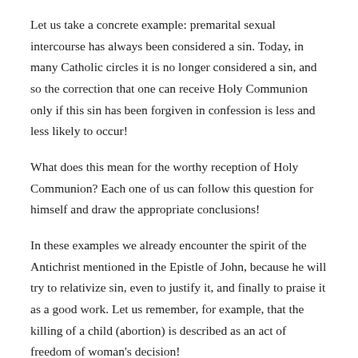Let us take a concrete example: premarital sexual intercourse has always been considered a sin. Today, in many Catholic circles it is no longer considered a sin, and so the correction that one can receive Holy Communion only if this sin has been forgiven in confession is less and less likely to occur!
What does this mean for the worthy reception of Holy Communion? Each one of us can follow this question for himself and draw the appropriate conclusions!
In these examples we already encounter the spirit of the Antichrist mentioned in the Epistle of John, because he will try to relativize sin, even to justify it, and finally to praise it as a good work. Let us remember, for example, that the killing of a child (abortion) is described as an act of freedom of woman's decision!
Further aspects of the discernment of spirits will be considered in